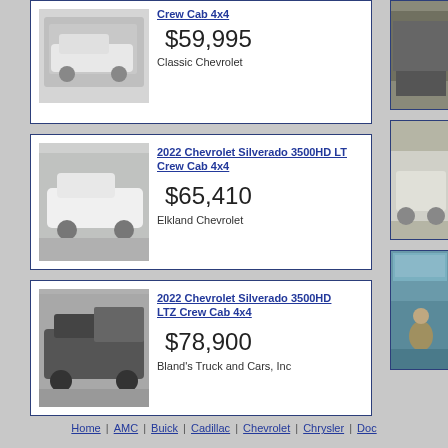[Figure (photo): White Chevrolet Silverado 3500HD truck, front view]
Crew Cab 4x4
$59,995
Classic Chevrolet
[Figure (photo): Right side partial photo of dark truck]
[Figure (photo): White Chevrolet Silverado 3500HD LT truck, front-side view]
2022 Chevrolet Silverado 3500HD LT Crew Cab 4x4
$65,410
Elkland Chevrolet
[Figure (photo): Right side partial photo of white truck]
[Figure (photo): Black Chevrolet Silverado 3500HD LTZ dump truck, side view]
2022 Chevrolet Silverado 3500HD LTZ Crew Cab 4x4
$78,900
Bland's Truck and Cars, Inc
[Figure (photo): Right side partial photo showing dark car with person]
Home | AMC | Buick | Cadillac | Chevrolet | Chrysler | Doc